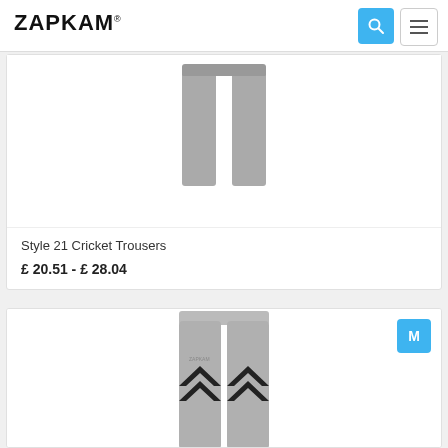ZAPKAM®
[Figure (photo): Grey cricket trousers product image showing two trouser legs viewed from front]
Style 21 Cricket Trousers
£ 20.51 - £ 28.04
[Figure (photo): Grey sports/cricket trousers with black chevron V design on the lower legs, with M badge indicating size medium]